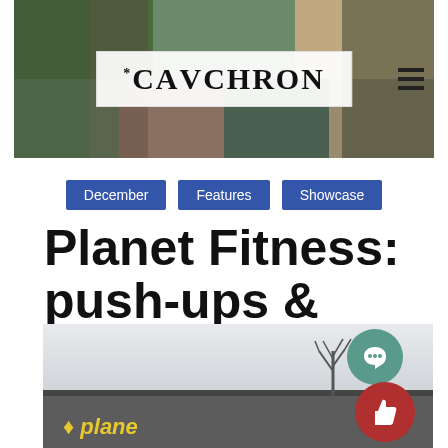[Figure (photo): CavChron school newspaper website header with photo collage of students and sports teams, with the CavChron logo in the center and a hamburger menu icon on the right]
December
Features
Showcase
Planet Fitness: push-ups & other perks
[Figure (photo): Exterior photo of a Planet Fitness building with the yellow Planet Fitness sign visible at the bottom, bare winter trees on the right, and a cloudy gray sky. Two circular social media buttons (a speech bubble icon in teal and a thumbs up icon in red) are overlaid on the lower right.]